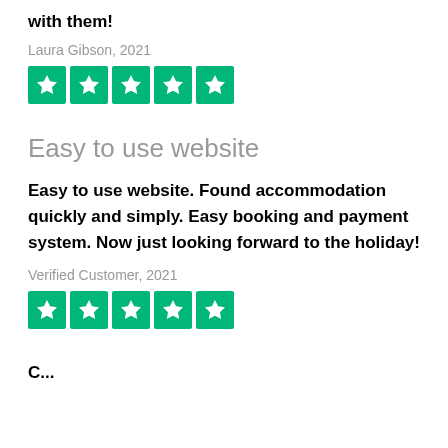with them!
Laura Gibson, 2021
[Figure (other): 5 green Trustpilot star rating boxes]
Easy to use website
Easy to use website. Found accommodation quickly and simply. Easy booking and payment system. Now just looking forward to the holiday!
Verified Customer, 2021
[Figure (other): 5 green Trustpilot star rating boxes]
C...